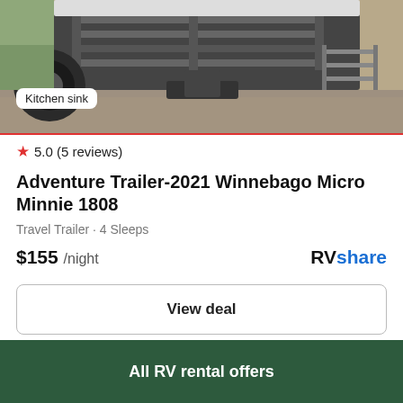[Figure (photo): Top portion of a trailer hitch/rear of a travel trailer, showing metal racking and a tire, outdoors on gravel]
Kitchen sink
★ 5.0 (5 reviews)
Adventure Trailer-2021 Winnebago Micro Minnie 1808
Travel Trailer · 4 Sleeps
$155 /night
RVshare
View deal
[Figure (photo): Night or dusk photo of a white RV/travel trailer exterior with blue LED lighting illuminating the windows]
All RV rental offers